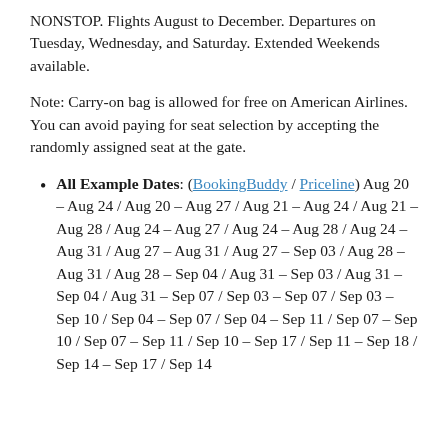NONSTOP. Flights August to December. Departures on Tuesday, Wednesday, and Saturday. Extended Weekends available.
Note: Carry-on bag is allowed for free on American Airlines. You can avoid paying for seat selection by accepting the randomly assigned seat at the gate.
All Example Dates: (BookingBuddy / Priceline) Aug 20 – Aug 24 / Aug 20 – Aug 27 / Aug 21 – Aug 24 / Aug 21 – Aug 28 / Aug 24 – Aug 27 / Aug 24 – Aug 28 / Aug 24 – Aug 31 / Aug 27 – Aug 31 / Aug 27 – Sep 03 / Aug 28 – Aug 31 / Aug 28 – Sep 04 / Aug 31 – Sep 03 / Aug 31 – Sep 04 / Aug 31 – Sep 07 / Sep 03 – Sep 07 / Sep 03 – Sep 10 / Sep 04 – Sep 07 / Sep 04 – Sep 11 / Sep 07 – Sep 10 / Sep 07 – Sep 11 / Sep 10 – Sep 17 / Sep 11 – Sep 18 / Sep 14 – Sep 17 / Sep 14